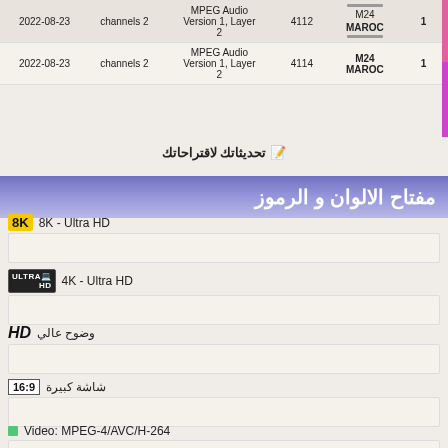| Date | Channels | Format | ID | Network | Count |
| --- | --- | --- | --- | --- | --- |
| 2022-08-23 | channels 2 | MPEG Audio Version 1, Layer 2 | 4112 | M24 MAROC | 1 |
| 2022-08-23 | channels 2 | MPEG Audio Version 1, Layer 2 | 4114 | M24 MAROC | 1 |
📝 تحديثاتك لاقتراحاتك
مفتاح الالوان و الرموز
8K - Ultra HD
4K - Ultra HD
HD - وضوح عالي
16:9 - شاشة كبيرة
Video: MPEG-4/AVC/H-264